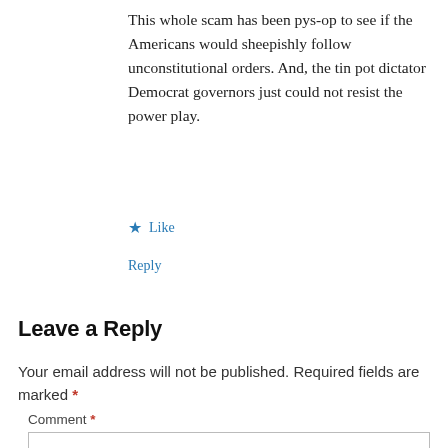This whole scam has been pys-op to see if the Americans would sheepishly follow unconstitutional orders. And, the tin pot dictator Democrat governors just could not resist the power play.
★ Like
Reply
Leave a Reply
Your email address will not be published. Required fields are marked *
Comment *